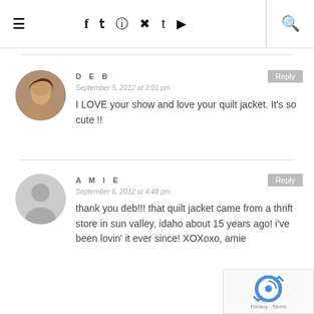≡  f  𝕥  ⊕  ℗  t  ▶  🔍
DEB
September 5, 2012 at 3:01 pm
I LOVE your show and love your quilt jacket. It's so cute !!
AMIE
September 6, 2012 at 4:48 pm
thank you deb!!! that quilt jacket came from a thrift store in sun valley, idaho about 15 years ago! i've been lovin' it ever since! XOXoxo, amie